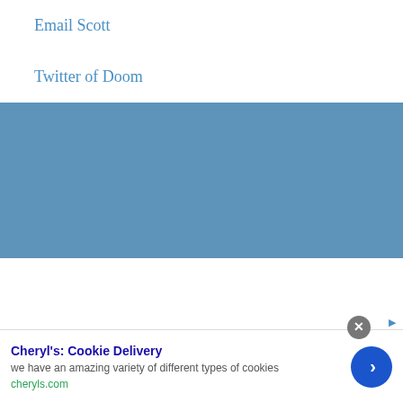Email Scott
Twitter of Doom
[Figure (other): Solid steel-blue rectangular block, likely a placeholder for an embedded widget or image]
Cheryl's: Cookie Delivery
we have an amazing variety of different types of cookies
cheryls.com